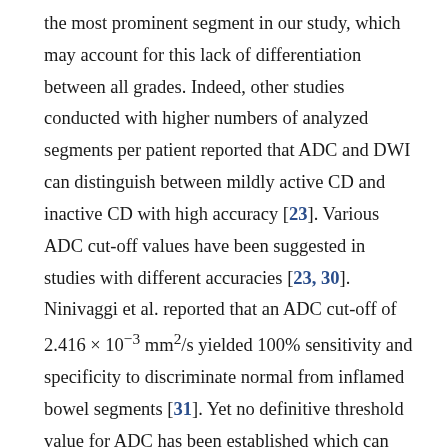the most prominent segment in our study, which may account for this lack of differentiation between all grades. Indeed, other studies conducted with higher numbers of analyzed segments per patient reported that ADC and DWI can distinguish between mildly active CD and inactive CD with high accuracy [23]. Various ADC cut-off values have been suggested in studies with different accuracies [23, 30]. Ninivaggi et al. reported that an ADC cut-off of 2.416 × 10⁻³ mm²/s yielded 100% sensitivity and specificity to discriminate normal from inflamed bowel segments [31]. Yet no definitive threshold value for ADC has been established which can accurately differentiate active from inactive CD probably because of different sample sizes and different b-values used in the studies [21]. In our study